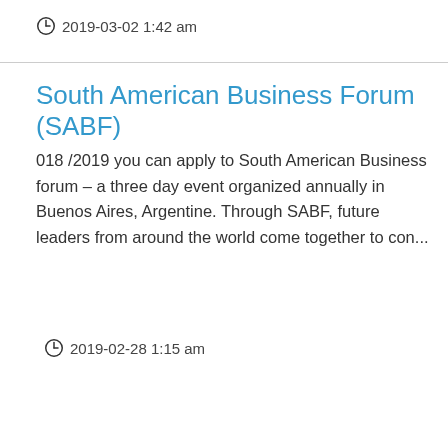2019-03-02 1:42 am
South American Business Forum (SABF)
018 /2019 you can apply to South American Business forum – a three day event organized annually in Buenos Aires, Argentine. Through SABF, future leaders from around the world come together to con...
2019-02-28 1:15 am